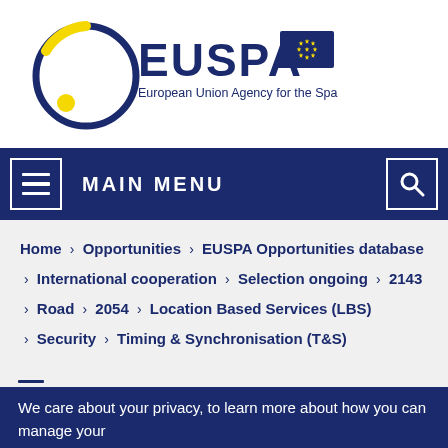[Figure (logo): EUSPA logo — European Union Agency for the Space Programme, with circular orbit graphic in blue/yellow and EU flag]
MAIN MENU
Home > Opportunities > EUSPA Opportunities database > International cooperation > Selection ongoing > 2143 > Road > 2054 > Location Based Services (LBS) > Security > Timing & Synchronisation (T&S)
≡
We care about your privacy, to learn more about how you can manage your